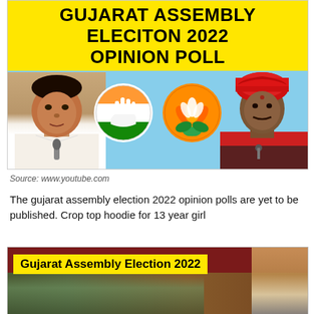[Figure (infographic): YouTube thumbnail for Gujarat Assembly Election 2022 Opinion Poll. Yellow title bar with bold black text 'GUJARAT ASSEMBLY ELECITON 2022 OPINION POLL'. Light blue background with Indian National Congress logo (hand symbol) and BJP lotus logo in the center. Political figures on left and right.]
Source: www.youtube.com
The gujarat assembly election 2022 opinion polls are yet to be published. Crop top hoodie for 13 year girl
[Figure (infographic): YouTube thumbnail for Gujarat Assembly Election 2022. Dark red background with yellow bar reading 'Gujarat Assembly Election 2022'. Crowd image and a face on the right.]